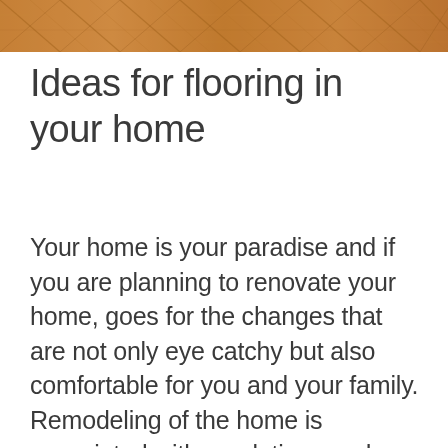[Figure (photo): Close-up photograph of wooden herringbone parquet flooring in warm brown tones, shown at the top of the page as a banner image.]
Ideas for flooring in your home
Your home is your paradise and if you are planning to renovate your home, goes for the changes that are not only eye catchy but also comfortable for you and your family. Remodeling of the home is associated with revolutions and amendments adjusted in every nook and cranny of the home. If you are going to change the flooring of your home there